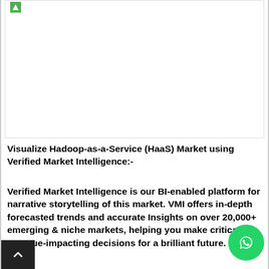[Figure (other): Blank white image area with a small green logo icon in the top-left corner, bordered by a thin rectangle]
Visualize Hadoop-as-a-Service (HaaS) Market using Verified Market Intelligence:-
Verified Market Intelligence is our BI-enabled platform for narrative storytelling of this market. VMI offers in-depth forecasted trends and accurate Insights on over 20,000+ emerging & niche markets, helping you make critical revenue-impacting decisions for a brilliant future.